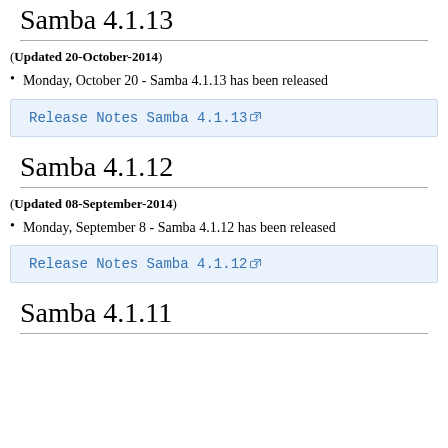Samba 4.1.13
(Updated 20-October-2014)
Monday, October 20 - Samba 4.1.13 has been released
Release Notes Samba 4.1.13 [external link]
Samba 4.1.12
(Updated 08-September-2014)
Monday, September 8 - Samba 4.1.12 has been released
Release Notes Samba 4.1.12 [external link]
Samba 4.1.11